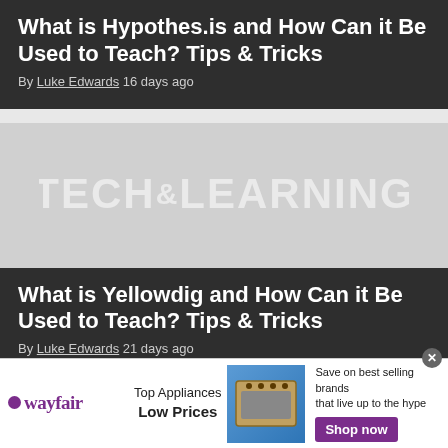What is Hypothes.is and How Can it Be Used to Teach? Tips & Tricks
By Luke Edwards 16 days ago
[Figure (illustration): Tech & Learning watermark logo on grey background]
What is Yellowdig and How Can it Be Used to Teach? Tips & Tricks
By Luke Edwards 21 days ago
[Figure (screenshot): Bottom strip showing Tech & Learning branding with avatar circle]
[Figure (other): Wayfair advertisement banner: Top Appliances Low Prices, Save on best selling brands that live up to the hype, Shop now button, stove/range appliance image]